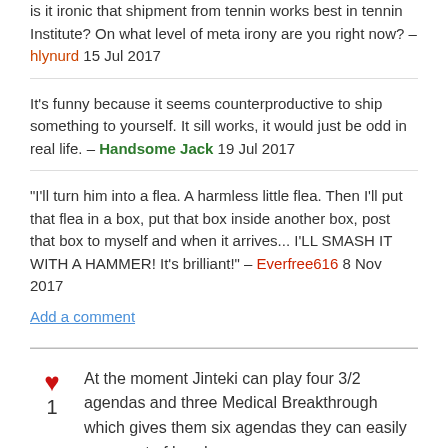is it ironic that shipment from tennin works best in tennin Institute? On what level of meta irony are you right now? — hlynurd 15 Jul 2017
It's funny because it seems counterproductive to ship something to yourself. It sill works, it would just be odd in real life. — Handsome Jack 19 Jul 2017
"I'll turn him into a flea. A harmless little flea. Then I'll put that flea in a box, put that box inside another box, post that box to myself and when it arrives... I'LL SMASH IT WITH A HAMMER! It's brilliant!" — Everfree616 8 Nov 2017
Add a comment
At the moment Jinteki can play four 3/2 agendas and three Medical Breakthrough which gives them six agendas they can easily score out of hand.
There is the downside of the runner cannot have